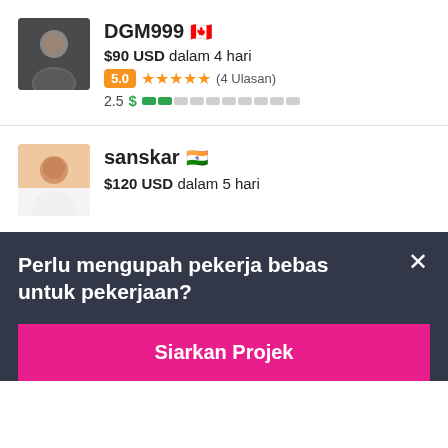[Figure (photo): Profile avatar photo of DGM999, a man in a dark shirt]
DGM999 🇨🇦
$90 USD dalam 4 hari
5.0 ★★★★★ (4 Ulasan)
2.5 $ ██░░░░░░░░
[Figure (photo): Profile avatar photo of sanskar, a young man in a white shirt]
sanskar 🇮🇳
$120 USD dalam 5 hari
Perlu mengupah pekerja bebas untuk pekerjaan?
Siarkan Projek